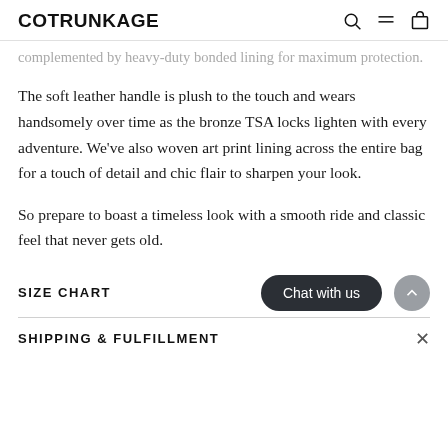COTRUNKAGE
complemented by heavy-duty bonded lining for maximum protection.
The soft leather handle is plush to the touch and wears handsomely over time as the bronze TSA locks lighten with every adventure. We've also woven art print lining across the entire bag for a touch of detail and chic flair to sharpen your look.
So prepare to boast a timeless look with a smooth ride and classic feel that never gets old.
SIZE CHART
SHIPPING & FULFILLMENT